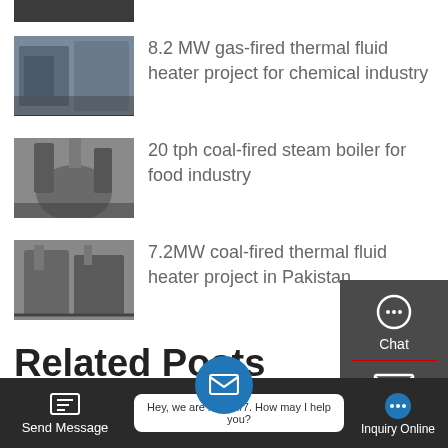[Figure (photo): Partial thumbnail of industrial equipment at top of page]
[Figure (photo): Industrial thermal fluid heater equipment in a factory]
8.2 MW gas-fired thermal fluid heater project for chemical industry
[Figure (photo): Large coal-fired steam boiler outdoors]
20 tph coal-fired steam boiler for food industry
[Figure (photo): Coal-fired thermal fluid heater equipment]
7.2MW coal-fired thermal fluid heater project in Pakistan
Related Posts
Supplier 20t Biomass Boiler Industrial
6000Kg Hr Steam Boiler
How Water Tube Boiler Works
how much gas boiler Agent cost to run
Hey, we are live 24/7. How may I help you?
Send Message | Inquiry Online